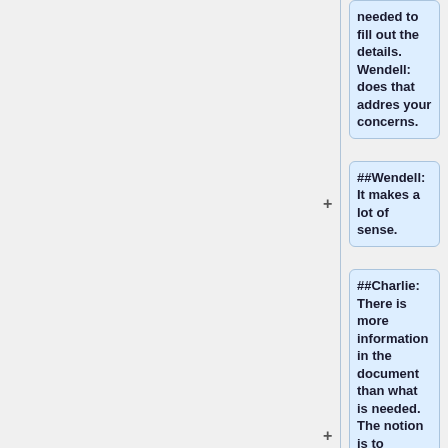needed to fill out the details. Wendell: does that addres your concerns.
##Wendell: It makes a lot of sense.
##Charlie: There is more information in the document than what is needed.  The notion is to choose just enough methodology and model to make sense. TSC needs to see the